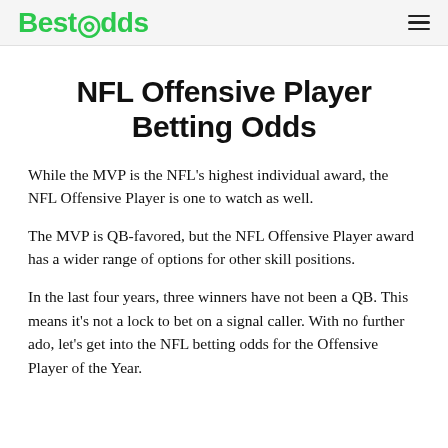BestOdds
NFL Offensive Player Betting Odds
While the MVP is the NFL's highest individual award, the NFL Offensive Player is one to watch as well.
The MVP is QB-favored, but the NFL Offensive Player award has a wider range of options for other skill positions.
In the last four years, three winners have not been a QB. This means it's not a lock to bet on a signal caller. With no further ado, let's get into the NFL betting odds for the Offensive Player of the Year.